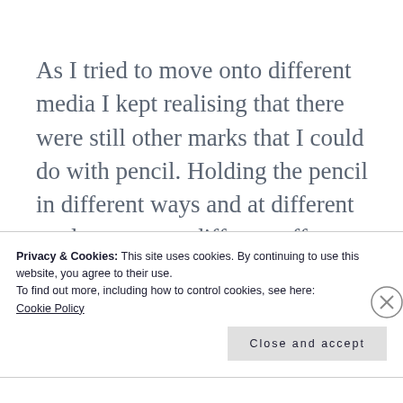As I tried to move onto different media I kept realising that there were still other marks that I could do with pencil. Holding the pencil in different ways and at different angles gave me different effects, holding it in position...
Privacy & Cookies: This site uses cookies. By continuing to use this website, you agree to their use.
To find out more, including how to control cookies, see here:
Cookie Policy
Close and accept